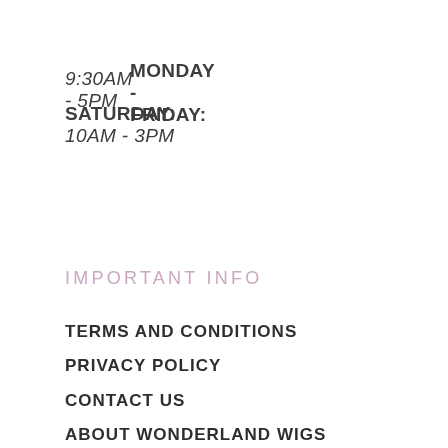MONDAY - FRIDAY:
9:30AM - 5PM
SATURDAY: 10AM - 3PM
IMPORTANT INFO
TERMS AND CONDITIONS
PRIVACY POLICY
CONTACT US
ABOUT WONDERLAND WIGS